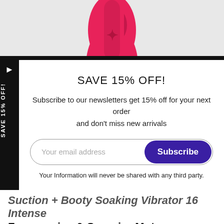[Figure (photo): Pink product (vibrator) partially visible at the top of the page against a light background]
SAVE 15% OFF!
Subscribe to our newsletters get 15% off for your next order and don't miss new arrivals
Your email address  [Subscribe button]
Your Information will never be shared with any third party.
Suction + Booty Soaking Vibrator 16 Intense Frequencies & Superior Motor
Availability : In Stock